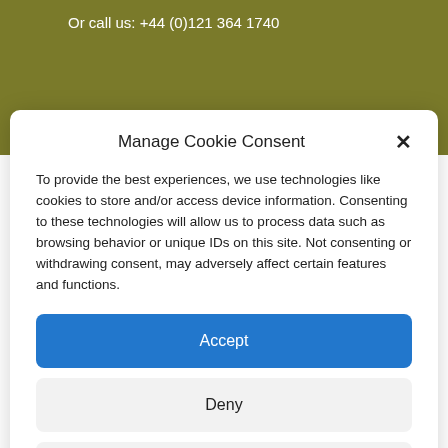Or call us: +44 (0)121 364 1740
Manage Cookie Consent
To provide the best experiences, we use technologies like cookies to store and/or access device information. Consenting to these technologies will allow us to process data such as browsing behavior or unique IDs on this site. Not consenting or withdrawing consent, may adversely affect certain features and functions.
Accept
Deny
View preferences
Cookie Policy   Privacy Policy